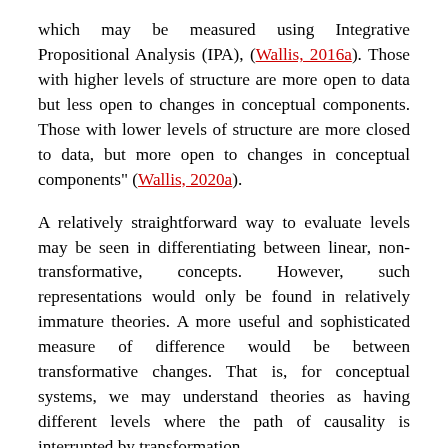which may be measured using Integrative Propositional Analysis (IPA), (Wallis, 2016a). Those with higher levels of structure are more open to data but less open to changes in conceptual components. Those with lower levels of structure are more closed to data, but more open to changes in conceptual components" (Wallis, 2020a).
A relatively straightforward way to evaluate levels may be seen in differentiating between linear, non-transformative, concepts. However, such representations would only be found in relatively immature theories. A more useful and sophisticated measure of difference would be between transformative changes. That is, for conceptual systems, we may understand theories as having different levels where the path of causality is interrupted by transformation.